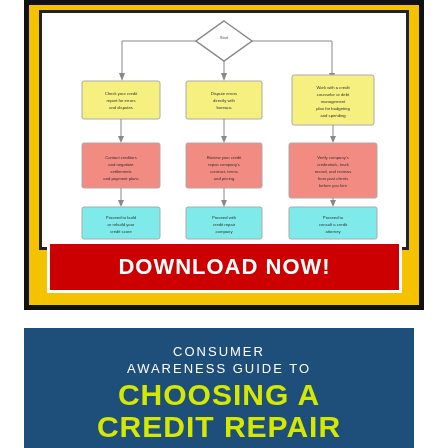[Figure (flowchart): A flowchart on white background showing a decision tree with yellow, pink/red, and cyan/teal colored boxes connected by arrows, representing a credit-related decision process. Contains a diamond decision node at top, branching into three columns each with a yellow box, a pink/salmon box, and a cyan/teal box at the bottom.]
DOWNLOAD NOW!
CONSUMER AWARENESS GUIDE TO CHOOSING A CREDIT REPAIR